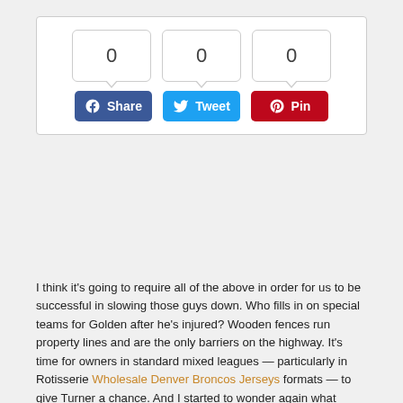[Figure (other): Social sharing widget with three counter bubbles showing 0, 0, 0 and three buttons: Share (Facebook, blue), Tweet (Twitter, light blue), Pin (Pinterest, red)]
I think it's going to require all of the above in order for us to be successful in slowing those guys down. Who fills in on special teams for Golden after he's injured? Wooden fences run property lines and are the only barriers on the highway. It's time for owners in standard mixed leagues — particularly in Rotisserie Wholesale Denver Broncos Jerseys formats — to give Turner a chance. And I started to wonder again what Wholesale Jerseys sort of Big 12 magic Bill Self has. The Reds begin a three-game series at home against the Miami Marlins on Tuesday night in a 6 ET first pitch. These machines help with all sorts of issues, such as: limited mobility, chronic pain, sciatica, lower back pain etc. Catches: Left Team: USA NTDP GP-39 W-27 L-6 GAA-2 SV%-.911 SO-1 Considered to be one of the top goaltending prospects in recent years, Knight is mentally tough, big, athletic, smart and has the uncanny ability to always be in the right position to make the save. The bad news is that Virginia is up